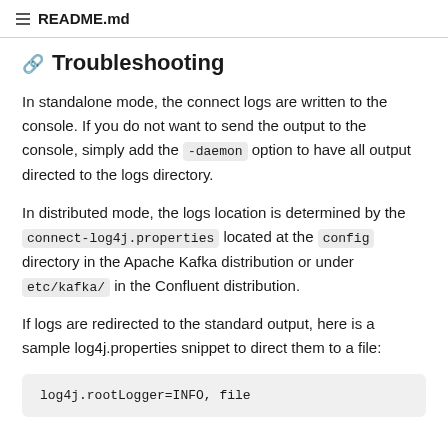README.md
Troubleshooting
In standalone mode, the connect logs are written to the console. If you do not want to send the output to the console, simply add the -daemon option to have all output directed to the logs directory.
In distributed mode, the logs location is determined by the connect-log4j.properties located at the config directory in the Apache Kafka distribution or under etc/kafka/ in the Confluent distribution.
If logs are redirected to the standard output, here is a sample log4j.properties snippet to direct them to a file:
log4j.rootLogger=INFO, file